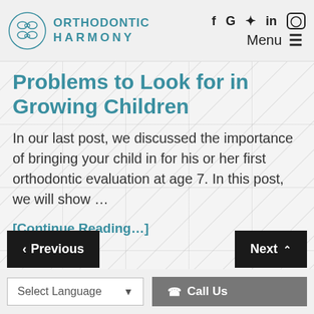Orthodontic Harmony
Problems to Look for in Growing Children
In our last post, we discussed the importance of bringing your child in for his or her first orthodontic evaluation at age 7. In this post, we will show ...
[Continue Reading...]
< Previous | Next | Select Language | Call Us